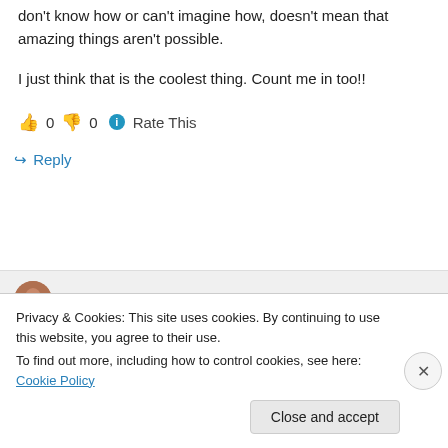don't know how or can't imagine how, doesn't mean that amazing things aren't possible.
I just think that is the coolest thing. Count me in too!!
👍 0 👎 0 ℹ Rate This
↪ Reply
Tentative Equinox North on July 22, 2009 at
Privacy & Cookies: This site uses cookies. By continuing to use this website, you agree to their use.
To find out more, including how to control cookies, see here: Cookie Policy
Close and accept